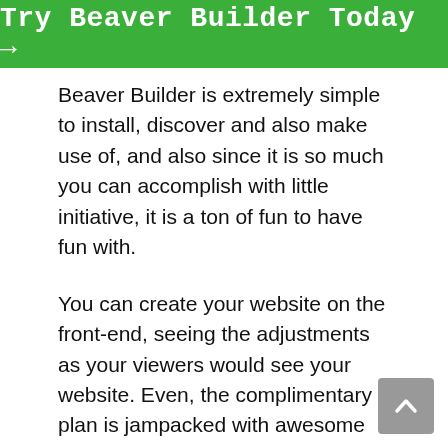[Figure (other): Green banner button with white text reading 'Try Beaver Builder Today →']
Beaver Builder is extremely simple to install, discover and also make use of, and also since it is so much you can accomplish with little initiative, it is a ton of fun to have fun with.
You can create your website on the front-end, seeing the adjustments as your viewers would see your website. Even, the complimentary plan is jampacked with awesome attributes that are suitable for real-world WordPress tasks.
Beaver Builder operates on Bootstrap there are definitely no bloats. The designers